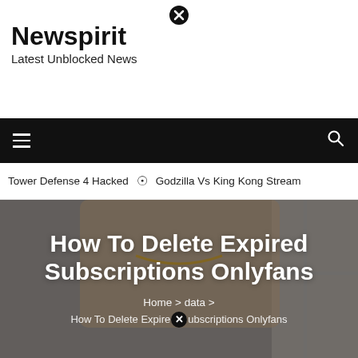Newspirit
Latest Unblocked News
Tower Defense 4 Hacked ⊙ Godzilla Vs King Kong Stream
[Figure (photo): Hero image of a shirtless person wearing a chain necklace, standing near a window/door, used as background for article header.]
How To Delete Expired Subscriptions Onlyfans
Home > data > How To Delete Expired Subscriptions Onlyfans